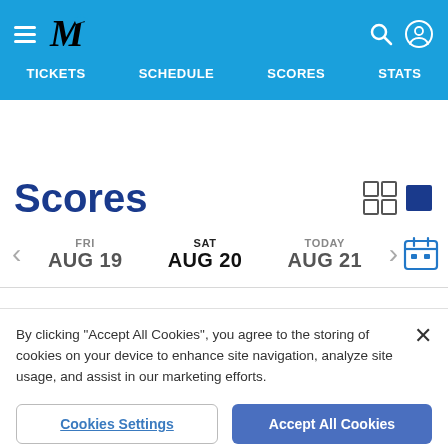[Figure (screenshot): Miami Marlins website navigation header with hamburger menu, Marlins M logo, search icon, and user icon on blue background]
TICKETS   SCHEDULE   SCORES   STATS
Scores
FRI AUG 19   SAT AUG 20   TODAY AUG 21
By clicking "Accept All Cookies", you agree to the storing of cookies on your device to enhance site navigation, analyze site usage, and assist in our marketing efforts.
Cookies Settings   Accept All Cookies